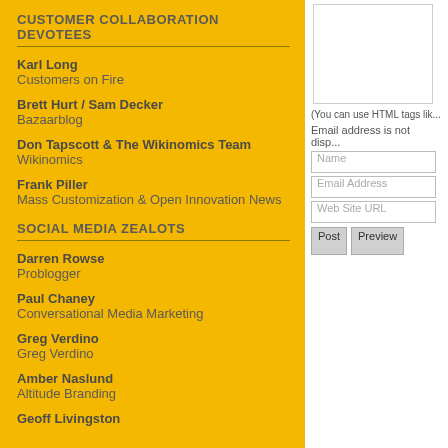CUSTOMER COLLABORATION DEVOTEES
Karl Long
Customers on Fire
Brett Hurt / Sam Decker
Bazaarblog
Don Tapscott & The Wikinomics Team
Wikinomics
Frank Piller
Mass Customization & Open Innovation News
SOCIAL MEDIA ZEALOTS
Darren Rowse
Problogger
Paul Chaney
Conversational Media Marketing
Greg Verdino
Greg Verdino
Amber Naslund
Altitude Branding
Geoff Livingston
(You can use HTML tags lik...
Email address is not disp...
Name
Email Address
Web Site URL
Post  Preview
POWERED BY TypePad